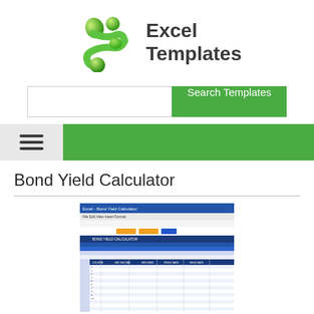[Figure (logo): Excel Templates logo with green abstract figure/droplets icon on left and bold dark text 'Excel Templates' on right]
[Figure (screenshot): Search bar with white input field on left and green 'Search Templates' button on right]
[Figure (other): Navigation bar: light gray section with three horizontal lines (hamburger menu) on left, green bar extending to the right]
Bond Yield Calculator
[Figure (screenshot): Screenshot of an Excel spreadsheet showing Bond Yield Calculator template with blue header rows, orange and blue buttons, data columns and rows of financial data]